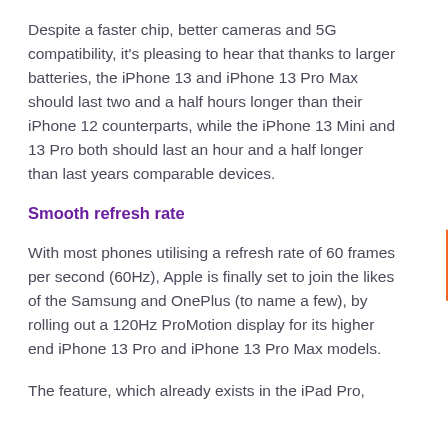Despite a faster chip, better cameras and 5G compatibility, it's pleasing to hear that thanks to larger batteries, the iPhone 13 and iPhone 13 Pro Max should last two and a half hours longer than their iPhone 12 counterparts, while the iPhone 13 Mini and 13 Pro both should last an hour and a half longer than last years comparable devices.
Smooth refresh rate
With most phones utilising a refresh rate of 60 frames per second (60Hz), Apple is finally set to join the likes of the Samsung and OnePlus (to name a few), by rolling out a 120Hz ProMotion display for its higher end iPhone 13 Pro and iPhone 13 Pro Max models.
The feature, which already exists in the iPad Pro,